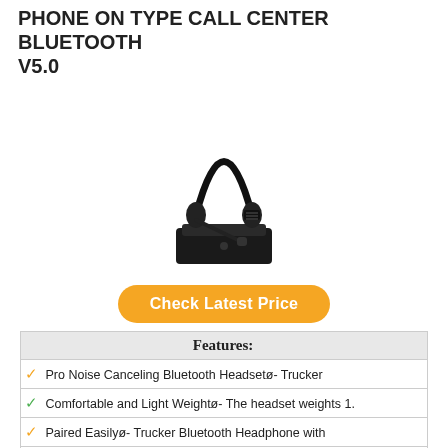PHONE ON TYPE CALL CENTER BLUETOOTH V5.0
[Figure (photo): Product photo of a black Bluetooth headset with microphone boom arm, sitting on a rectangular charging dock/base station.]
Check Latest Price
| Features: |
| --- |
| ✓ Pro Noise Canceling Bluetooth Headsetø- Trucker |
| ✓ Comfortable and Light Weightø- The headset weights 1. |
| ✓ Paired Easilyø- Trucker Bluetooth Headphone with |
| ✓ Long-Lasting Batteryø- Bluetooth headset can offer up |
| ✓ Friendly Warrantyø- M9 headset provide 30 days return |